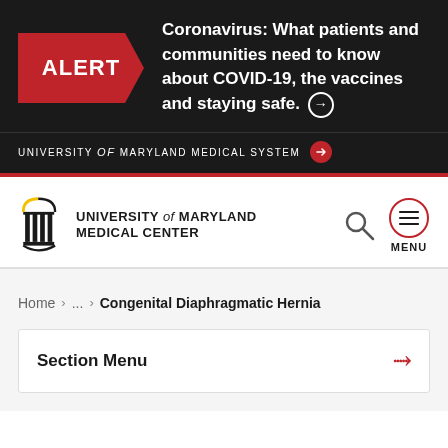[Figure (screenshot): Alert banner with red ALERT box and COVID-19 message on dark background]
UNIVERSITY of MARYLAND MEDICAL SYSTEM →
[Figure (logo): University of Maryland Medical Center logo with pillars icon]
Home > ... > Congenital Diaphragmatic Hernia
Section Menu